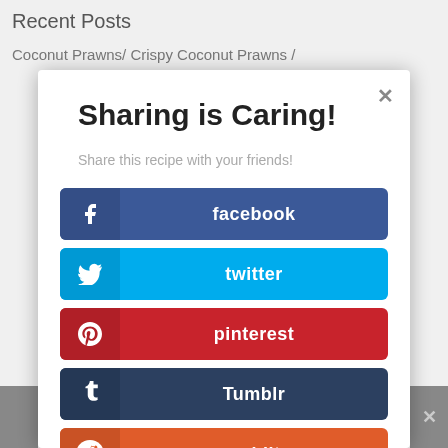Recent Posts
Coconut Prawns/ Crispy Coconut Prawns /
Sharing is Caring!
Share this recipe with your friends!
facebook
twitter
pinterest
Tumblr
reddit
Evernote